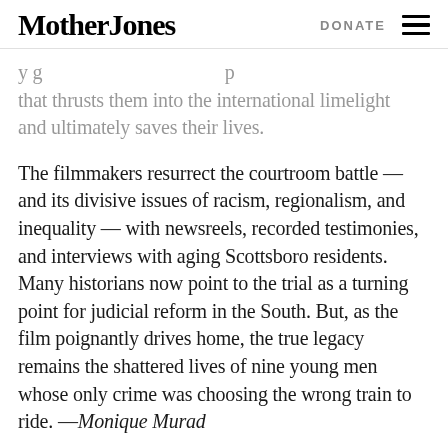Mother Jones | DONATE
y g p that thrusts them into the international limelight and ultimately saves their lives.
The filmmakers resurrect the courtroom battle — and its divisive issues of racism, regionalism, and inequality — with newsreels, recorded testimonies, and interviews with aging Scottsboro residents. Many historians now point to the trial as a turning point for judicial reform in the South. But, as the film poignantly drives home, the true legacy remains the shattered lives of nine young men whose only crime was choosing the wrong train to ride. —Monique Murad